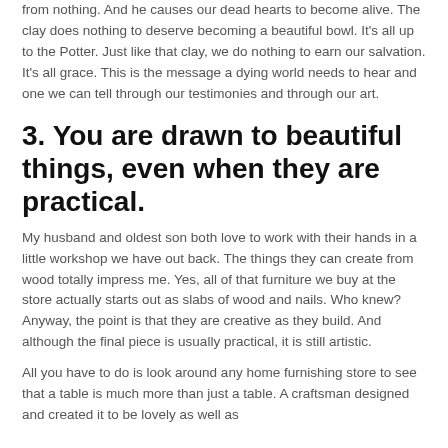from nothing.  And he causes our dead hearts to become alive.  The clay does nothing to deserve becoming a beautiful bowl.  It's all up to the Potter.  Just like that clay, we do nothing to earn our salvation.  It's all grace.  This is the message a dying world needs to hear and one we can tell through our testimonies and through our art.
3.  You are drawn to beautiful things, even when they are practical.
My husband and oldest son both love to work with their hands in a little workshop we have out back.  The things they can create from wood totally impress me.  Yes, all of that furniture we buy at the store actually starts out as slabs of wood and nails.  Who knew?  Anyway, the point is that they are creative as they build.  And although the final piece is usually practical, it is still artistic.
All you have to do is look around any home furnishing store to see that a table is much more than just a table.  A craftsman designed and created it to be lovely as well as